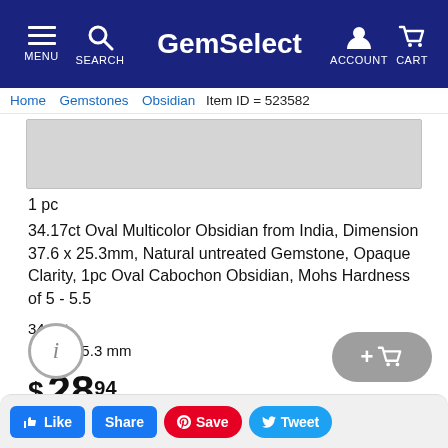GemSelect — MENU SEARCH ACCOUNT CART
Home > Gemstones > Obsidian > Item ID = 523582
[Figure (photo): Product image placeholder (gray rectangle for gemstone photo)]
1 pc
34.17ct Oval Multicolor Obsidian from India, Dimension 37.6 x 25.3mm, Natural untreated Gemstone, Opaque Clarity, 1pc Oval Cabochon Obsidian, Mohs Hardness of 5 - 5.5
34.2ct
37.6 x 25.3 mm
$ 28 94
👍 Like   Share   🅟 Save   🐦 Tweet